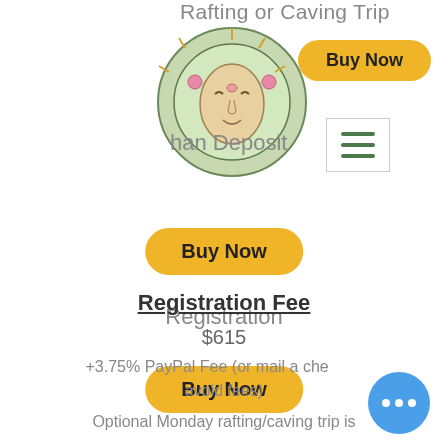Rafting or Caving Trip
[Figure (illustration): Circular mandala-style illustration of a face with decorative elements, colorful artwork]
Buy Now
[Figure (other): Hamburger menu icon with three horizontal green lines inside a bordered box]
han Deposit
Buy Now
Registration
Buy Now
Registration Fee
$615
+3.75% PayPal Fee (or mail a check to avoid fees)
Optional Monday rafting/caving trip is